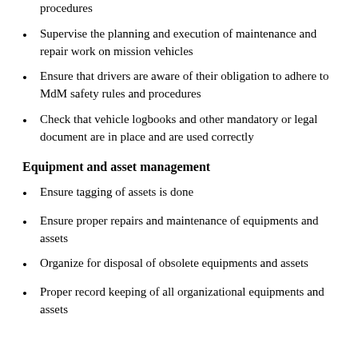procedures
Supervise the planning and execution of maintenance and repair work on mission vehicles
Ensure that drivers are aware of their obligation to adhere to MdM safety rules and procedures
Check that vehicle logbooks and other mandatory or legal document are in place and are used correctly
Equipment and asset management
Ensure tagging of assets is done
Ensure proper repairs and maintenance of equipments and assets
Organize for disposal of obsolete equipments and assets
Proper record keeping of all organizational equipments and assets